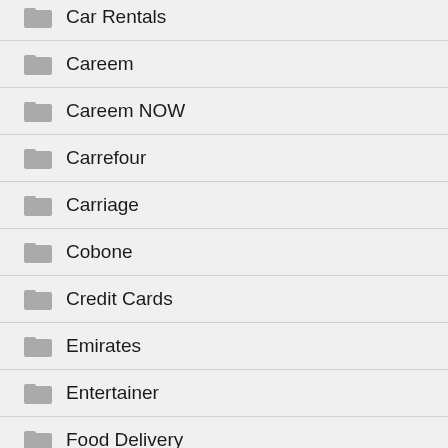Car Rentals
Careem
Careem NOW
Carrefour
Carriage
Cobone
Credit Cards
Emirates
Entertainer
Food Delivery